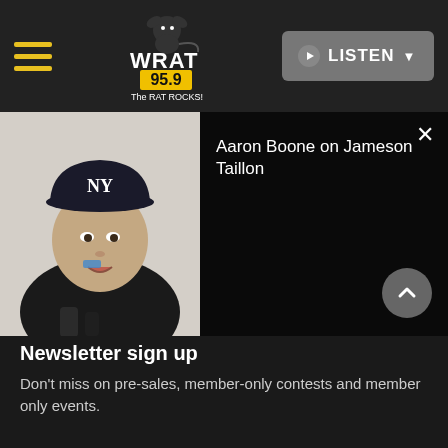WRAT 95.9 The RAT ROCKS! — LISTEN
[Figure (screenshot): Video thumbnail of Aaron Boone wearing Yankees cap, speaking at press conference with blue taping on face]
Aaron Boone on Jameson Taillon
[Figure (screenshot): App Store download button with Apple logo]
[Figure (screenshot): GET IT ON Google Play download button with Google Play logo]
Newsletter sign up
Don't miss on pre-sales, member-only contests and member only events.